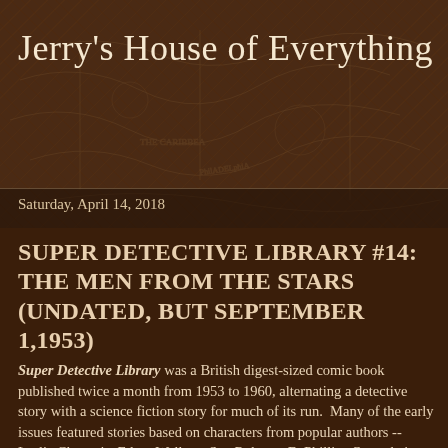Jerry's House of Everything
Saturday, April 14, 2018
SUPER DETECTIVE LIBRARY #14: THE MEN FROM THE STARS (UNDATED, BUT SEPTEMBER 1,1953)
Super Detective Library was a British digest-sized comic book published twice a month from 1953 to 1960, alternating a detective story with a science fiction story for much of its run.  Many of the early issues featured stories based on characters from popular authors -- Leslie Charteris, Edgar Wallace, Sax Rohmer, E. Phillips Oppenheim, Graham Greene, John Creasey, Victor Canning, and others.  Most issues had original stories from anonymous American, Canadian, and British writers and artists (among them Harry Harrison, Bill Lacey, Ron Embleton, and Ron Turner).